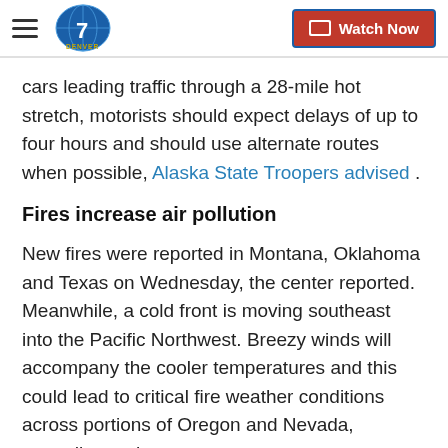Denver7 — Watch Now
cars leading traffic through a 28-mile hot stretch, motorists should expect delays of up to four hours and should use alternate routes when possible, Alaska State Troopers advised .
Fires increase air pollution
New fires were reported in Montana, Oklahoma and Texas on Wednesday, the center reported. Meanwhile, a cold front is moving southeast into the Pacific Northwest. Breezy winds will accompany the cooler temperatures and this could lead to critical fire weather conditions across portions of Oregon and Nevada, according to the center.